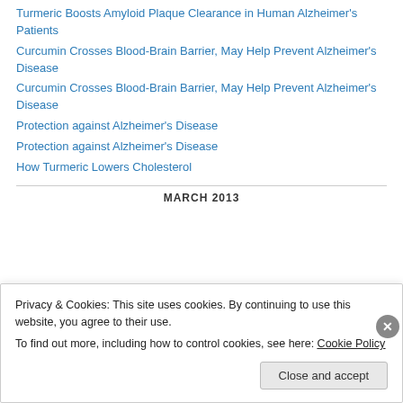Turmeric Boosts Amyloid Plaque Clearance in Human Alzheimer's Patients
Curcumin Crosses Blood-Brain Barrier, May Help Prevent Alzheimer's Disease
Curcumin Crosses Blood-Brain Barrier, May Help Prevent Alzheimer's Disease
Protection against Alzheimer's Disease
Protection against Alzheimer's Disease
How Turmeric Lowers Cholesterol
MARCH 2013
Privacy & Cookies: This site uses cookies. By continuing to use this website, you agree to their use.
To find out more, including how to control cookies, see here: Cookie Policy